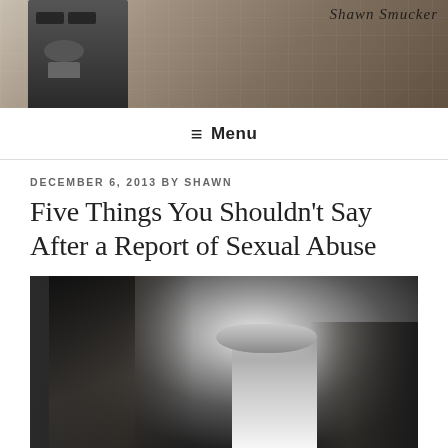[Figure (photo): Website header image showing a man with glasses and beard in front of a wall with papers, with cursive text 'Shawn Smucker' in upper right]
≡ Menu
DECEMBER 6, 2013 BY SHAWN
Five Things You Shouldn't Say After a Report of Sexual Abuse
[Figure (photo): Black and white photo of a person with long hair holding a finger to their lips in a 'shh' or silence gesture]